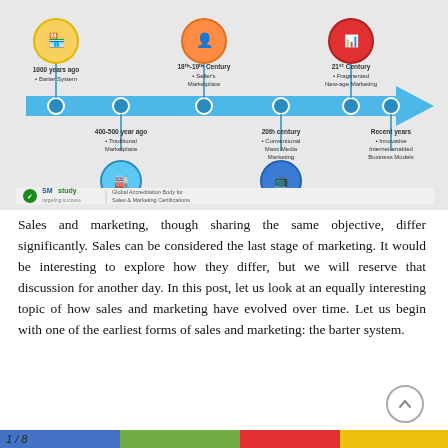[Figure (infographic): Timeline infographic showing the evolution of sales and marketing from 1000 years ago (Barter System) to Recent years (Innovative Internet-enabled Business Models), including 400-500 years ago (Traditional Marketplace), 18th-19th Century (Seller's Marketplace), 20th century (Conventional Mass Media Marketing), and 21st Century (Fragmented New-age Marketing). A blue arrow timeline runs horizontally with icons above and below. SMstudy logo and 'Global Accreditation Body for Sales & Marketing Certifications' text at bottom.]
Sales and marketing, though sharing the same objective, differ significantly. Sales can be considered the last stage of marketing. It would be interesting to explore how they differ, but we will reserve that discussion for another day. In this post, let us look at an equally interesting topic of how sales and marketing have evolved over time. Let us begin with one of the earliest forms of sales and marketing: the barter system.